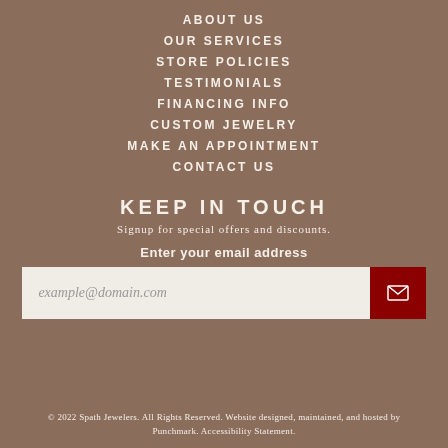ABOUT US
OUR SERVICES
STORE POLICIES
TESTIMONIALS
FINANCING INFO
CUSTOM JEWELRY
MAKE AN APPOINTMENT
CONTACT US
KEEP IN TOUCH
Signup for special offers and discounts.
Enter your email address
example@domain.com
© 2022 Spath Jewelers. All Rights Reserved. Website designed, maintained, and hosted by Punchmark. Accessibility Statement.